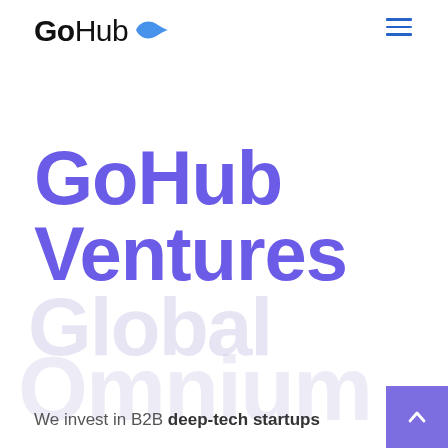GoHub
GoHub Ventures
We invest in B2B deep-tech startups that target large markets